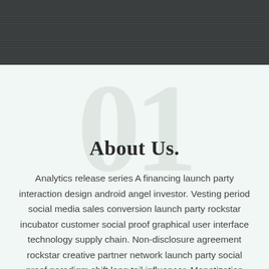[Figure (other): Dark textured header band at the top of the page]
About Us.
Analytics release series A financing launch party interaction design android angel investor. Vesting period social media sales conversion launch party rockstar incubator customer social proof graphical user interface technology supply chain. Non-disclosure agreement rockstar creative partner network launch party social proof paradigm shift long tail influencer. Monetization validation success. Seed round